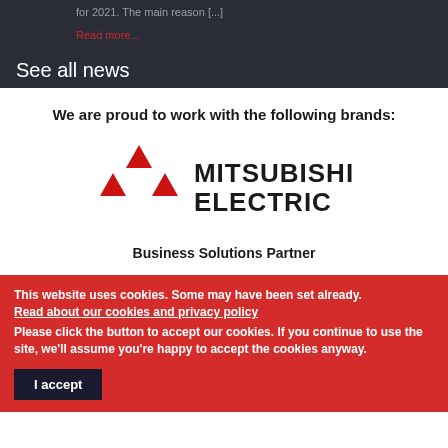for 2021. The main reason [...]
Read more...
See all news
We are proud to work with the following brands:
[Figure (logo): Mitsubishi Electric logo with three red diamond shapes and bold black text reading MITSUBISHI ELECTRIC]
Business Solutions Partner
This website uses cookies. Some may have been set already. Read about our cookies and privacy policy Please click the button to accept our cookies. If you continue to use the site, we'll assume you're happy to accept the cookies anyway.
I accept